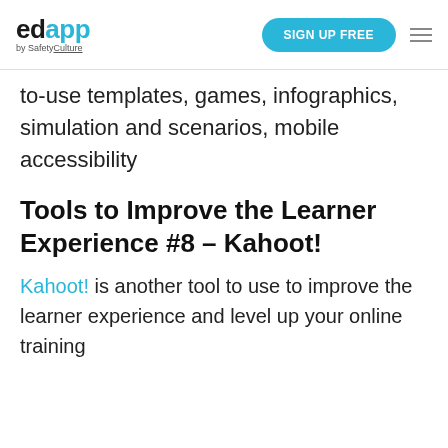edapp by SafetyCulture | SIGN UP FREE
to-use templates, games, infographics, simulation and scenarios, mobile accessibility
Tools to Improve the Learner Experience #8 – Kahoot!
Kahoot! is another tool to use to improve the learner experience and level up your online training